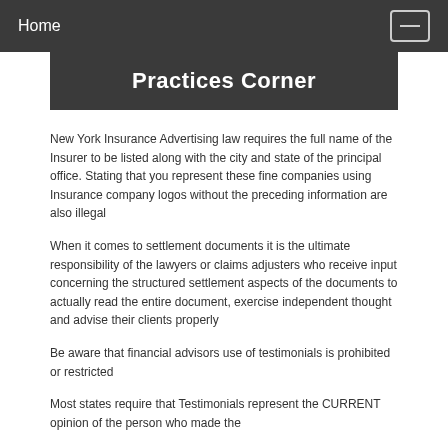Home
Practices Corner
New York Insurance Advertising law requires the full name of the Insurer to be listed along with the city and state of the principal office. Stating that you represent these fine companies using Insurance company logos without the preceding information are also illegal
When it comes to settlement documents it is the ultimate responsibility of the lawyers or claims adjusters who receive input concerning the structured settlement aspects of the documents to actually read the entire document, exercise independent thought and advise their clients properly
Be aware that financial advisors use of testimonials is prohibited or restricted
Most states require that Testimonials represent the CURRENT opinion of the person who made the testimonial. Recommended to check more.